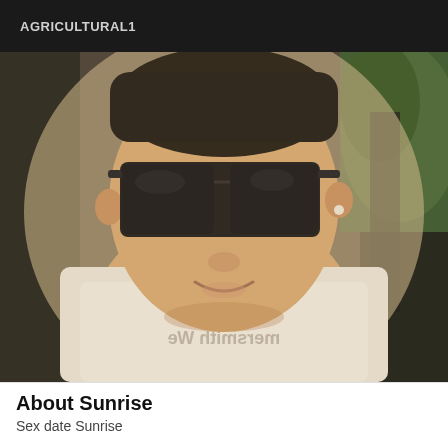AGRICULTURAL1
[Figure (photo): Selfie of a young man wearing large dark sunglasses and a white t-shirt with text, sitting in a car. The photo has a warm, slightly washed-out tonal quality.]
About Sunrise
Sex date Sunrise